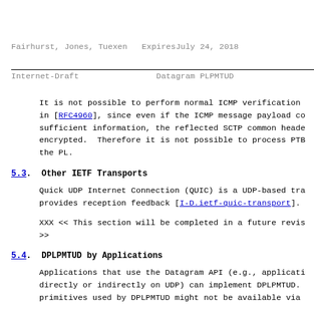Fairhurst, Jones, Tuexen   ExpiresJuly 24, 2018
Internet-Draft                    Datagram PLPMTUD
It is not possible to perform normal ICMP verification in [RFC4960], since even if the ICMP message payload co sufficient information, the reflected SCTP common heade encrypted.  Therefore it is not possible to process PTB the PL.
5.3.  Other IETF Transports
Quick UDP Internet Connection (QUIC) is a UDP-based tra provides reception feedback [I-D.ietf-quic-transport].
XXX << This section will be completed in a future revis >>
5.4.  DPLPMTUD by Applications
Applications that use the Datagram API (e.g., applicati directly or indirectly on UDP) can implement DPLPMTUD. primitives used by DPLPMTUD might not be available via